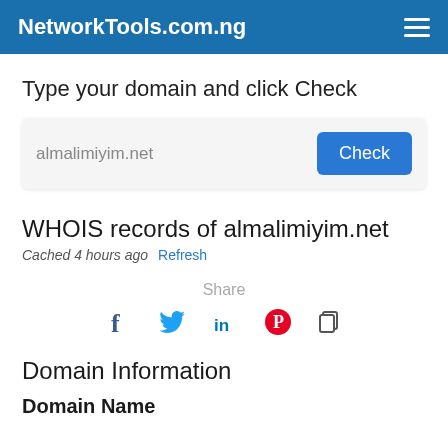NetworkTools.com.ng
Type your domain and click Check
almalimiyim.net  Check
WHOIS records of almalimiyim.net
Cached 4 hours ago  Refresh
Share
[Figure (infographic): Social sharing icons: Facebook (f), Twitter (bird), LinkedIn (in), Pinterest (P in circle), Copy (document icon)]
Domain Information
Domain Name